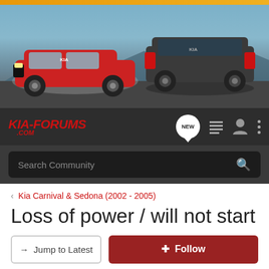[Figure (photo): Kia cars banner showing a red Kia Sportage on the left and a dark Kia SUV on the right, with mountains in the background]
KIA-FORUMS .COM
Search Community
< Kia Carnival & Sedona (2002 - 2005)
Loss of power / will not start
→ Jump to Latest
+ Follow
1 - 20 of 30 Posts
1 of 2 ▶
bluemozzer · Registered